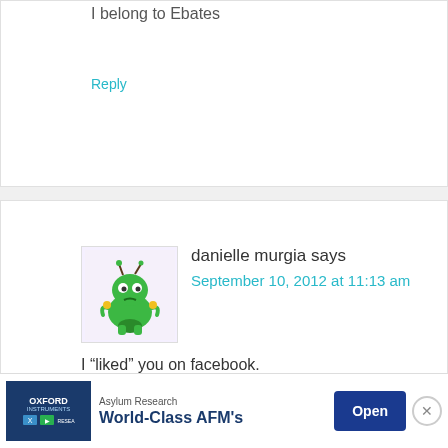I belong to Ebates
Reply
danielle murgia says
September 10, 2012 at 11:13 am
I “liked” you on facebook.
Reply
Andrea says
[Figure (other): Advertisement banner for Oxford Instruments Asylum Research showing World-Class AFM's with an Open button]